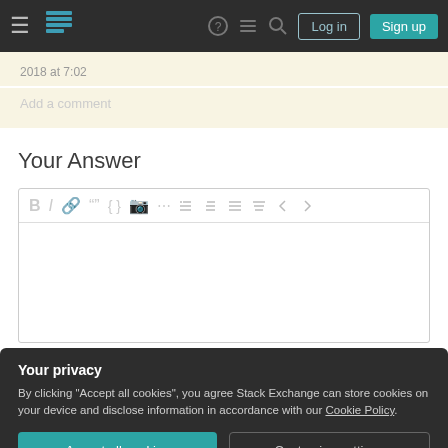[Figure (screenshot): Stack Exchange navigation bar with hamburger menu, logo, icons, Log in and Sign up buttons]
2018 at 7:02
Add a comment
Your Answer
[Figure (screenshot): Rich text editor toolbar with Bold, Italic, Link, Quote, Code, Image, numbered list, bullet list, alignment, and undo/redo icons]
[Figure (screenshot): Privacy banner: Your privacy. By clicking Accept all cookies you agree Stack Exchange can store cookies on your device and disclose information in accordance with our Cookie Policy. Buttons: Accept all cookies, Customize settings]
Sign up or log in